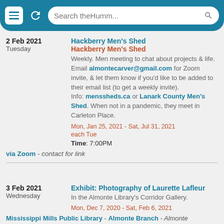Search theHumm...
2 Feb 2021 Tuesday
Hackberry Men's Shed
Hackberry Men's Shed
Weekly. Men meeting to chat about projects & life.
Email almontecarver@gmail.com for Zoom invite, & let them know if you'd like to be added to their email list (to get a weekly invite).
Info: menssheds.ca or Lanark County Men's Shed. When not in a pandemic, they meet in Carleton Place.
Mon, Jan 25, 2021 - Sat, Jul 31, 2021
each Tue
Time: 7:00PM
via Zoom - contact for link
3 Feb 2021 Wednesday
Exhibit: Photography of Laurette Lafleur
In the Almonte Library's Corridor Gallery.
Mon, Dec 7, 2020 - Sat, Feb 6, 2021
Mississippi Mills Public Library - Almonte Branch - Almonte